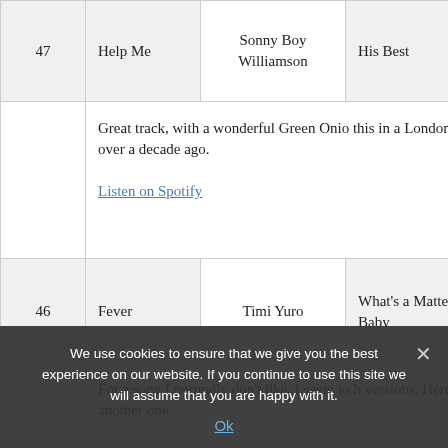| # | Title | Artist | Album |
| --- | --- | --- | --- |
| 47 | Help Me | Sonny Boy Williamson | His Best |
|  | Great track, with a wonderful Green Onio… this in a London pub over a decade ago.

Listen on Spotify |  |  |
| 46 | Fever | Timi Yuro | What's a Matter Baby |
|  | For a song I normally don't like, I seem to h… versions. Here's another one. |  |  |
|  | Dance Me To |  |  |
We use cookies to ensure that we give you the best experience on our website. If you continue to use this site we will assume that you are happy with it.